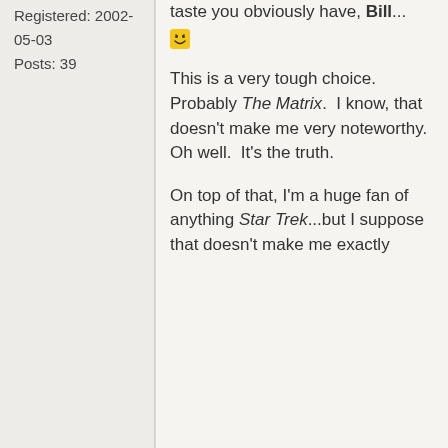Registered: 2002-05-03
Posts: 39
taste you obviously have, Bill... 😀
This is a very tough choice. Probably The Matrix.  I know, that doesn't make me very noteworthy.  Oh well.  It's the truth.
On top of that, I'm a huge fan of anything Star Trek...but I suppose that doesn't make me exactly